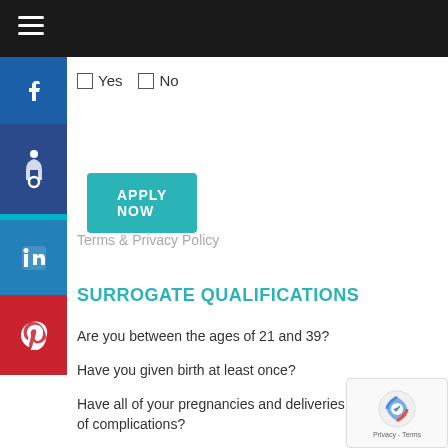Yes  No (checkboxes)
APPLY NOW
Terms & Privacy Policy
SURROGATE QUALIFICATIONS
Are you between the ages of 21 and 39?
Have you given birth at least once?
Have all of your pregnancies and deliveries been free of complications?